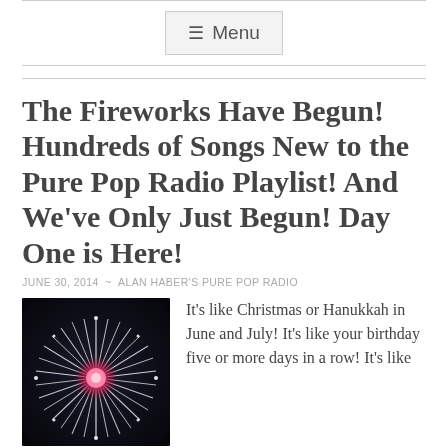Menu
The Fireworks Have Begun! Hundreds of Songs New to the Pure Pop Radio Playlist! And We've Only Just Begun! Day One is Here!
JUNE 30, 2014  ~  ALAN HABER'S PURE POP RADIO
[Figure (photo): Fireworks burst against a dark night sky, with bright white and pink starburst pattern in the center.]
It's like Christmas or Hanukkah in June and July! It's like your birthday five or more days in a row! It's like